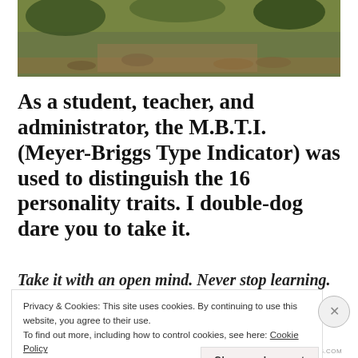[Figure (photo): Outdoor nature/trail photograph showing green grass and fallen leaves on a dirt path, with trees in the background.]
As a student, teacher, and administrator, the M.B.T.I. (Meyer-Briggs Type Indicator) was used to distinguish the 16 personality traits. I double-dog dare you to take it.
Take it with an open mind. Never stop learning. Use this
Privacy & Cookies: This site uses cookies. By continuing to use this website, you agree to their use.
To find out more, including how to control cookies, see here: Cookie Policy
Close and accept